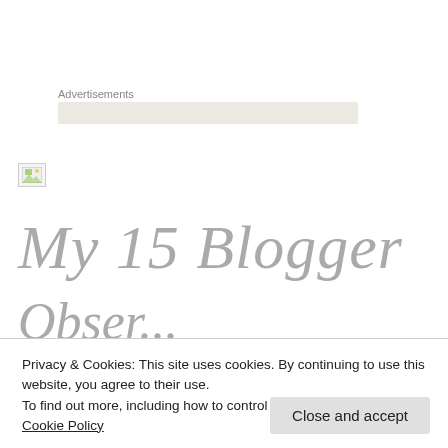Advertisements
[Figure (other): Advertisement placeholder box with beige/tan background]
[Figure (other): Broken image icon placeholder]
My 15 Blogger
Observations
Privacy & Cookies: This site uses cookies. By continuing to use this website, you agree to their use.
To find out more, including how to control cookies, see here: Cookie Policy
Close and accept